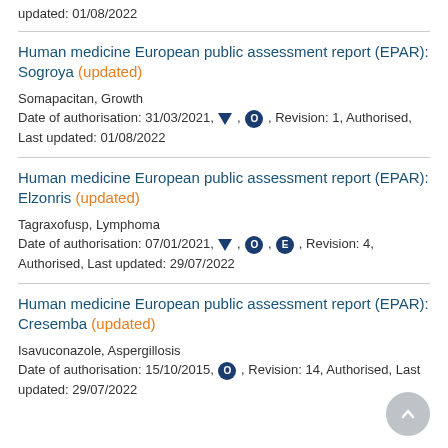updated: 01/08/2022
Human medicine European public assessment report (EPAR): Sogroya (updated)
Somapacitan, Growth
Date of authorisation: 31/03/2021, ▼, O, Revision: 1, Authorised, Last updated: 01/08/2022
Human medicine European public assessment report (EPAR): Elzonris (updated)
Tagraxofusp, Lymphoma
Date of authorisation: 07/01/2021, ▼, O, E, Revision: 4, Authorised, Last updated: 29/07/2022
Human medicine European public assessment report (EPAR): Cresemba (updated)
Isavuconazole, Aspergillosis
Date of authorisation: 15/10/2015, O, Revision: 14, Authorised, Last updated: 29/07/2022